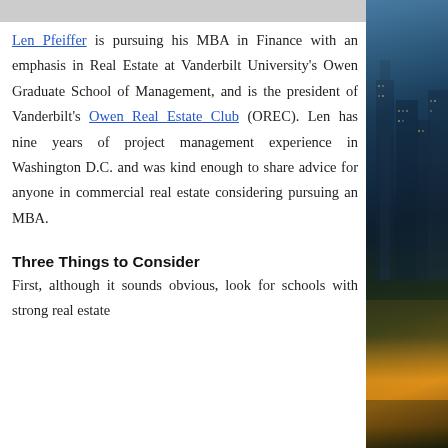[Figure (photo): Aerial cityscape photo at dusk showing illuminated skyscrapers and city lights, occupying the right column of the page.]
Len Pfeiffer is pursuing his MBA in Finance with an emphasis in Real Estate at Vanderbilt University's Owen Graduate School of Management, and is the president of Vanderbilt's Owen Real Estate Club (OREC). Len has nine years of project management experience in Washington D.C. and was kind enough to share advice for anyone in commercial real estate considering pursuing an MBA.
Three Things to Consider
First, although it sounds obvious, look for schools with strong real estate